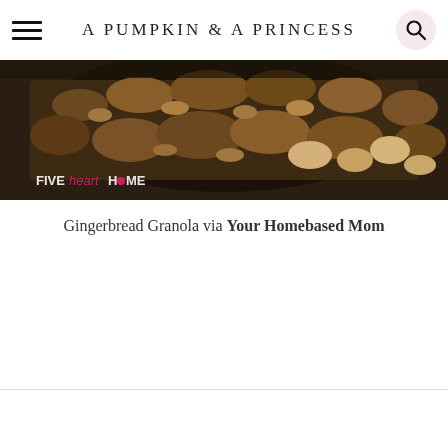A PUMPKIN & A PRINCESS
[Figure (photo): Close-up food photo of granola in a dark bowl, with nuts and oats visible. Watermark reads 'FIVEheartHOME' in bottom-left corner.]
Gingerbread Granola via Your Homebased Mom